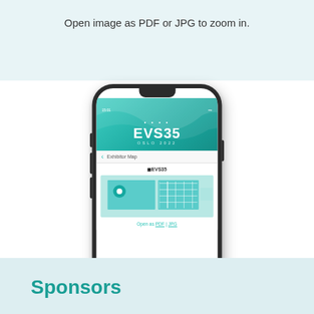Open image as PDF or JPG to zoom in.
[Figure (screenshot): A smartphone displaying the EVS35 conference app, showing an exhibitor map screen with a teal floor plan and an 'Open as PDF | JPG' link.]
Sponsors